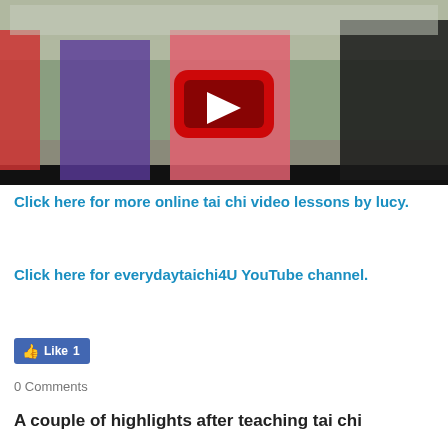[Figure (screenshot): Video thumbnail showing people practicing tai chi in a gym/hall setting, with a YouTube play button overlay in the center.]
Click here for more online tai chi video lessons by lucy.
Click here for everydaytaichi4U YouTube channel.
[Figure (other): Facebook Like button showing thumbs up icon and Like 1 count]
0 Comments
A couple of highlights after teaching tai chi